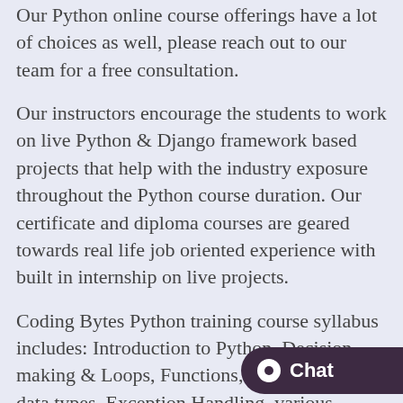Our Python online course offerings have a lot of choices as well, please reach out to our team for a free consultation.
Our instructors encourage the students to work on live Python & Django framework based projects that help with the industry exposure throughout the Python course duration. Our certificate and diploma courses are geared towards real life job oriented experience with built in internship on live projects.
Coding Bytes Python training course syllabus includes: Introduction to Python, Decision making & Loops, Functions, Variables and data types, Exception Handling, various libraries, Modules and Packages, Files and Directories, Regular Expressions, Classes, Object oriented programming, database handling, security, &